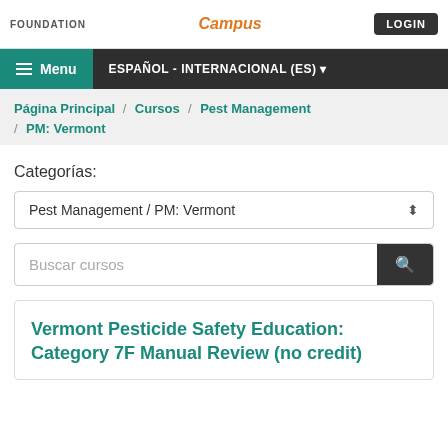FOUNDATION | Campus | LOGIN
Menu | ESPAÑOL - INTERNACIONAL (ES)
Página Principal / Cursos / Pest Management / PM: Vermont
Categorías:
Pest Management / PM: Vermont
Buscar cursos
Vermont Pesticide Safety Education: Category 7F Manual Review (no credit)